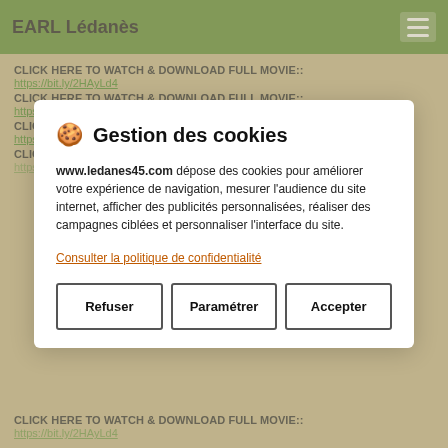EARL Lédanès
CLICK HERE TO WATCH & DOWNLOAD FULL MOVIE::
https://bit.ly/2HAyLd4
CLICK HERE TO WATCH & DOWNLOAD FULL MOVIE::
https://bit.ly/2HAyLd4
CLICK HERE TO WATCH & DOWNLOAD FULL MOVIE::
https://bit.ly/2HAyLd4
CLICK HERE TO WATCH & DOWNLOAD FULL MOVIE::
https://bit.ly/2HAyLd4
🍪 Gestion des cookies
www.ledanes45.com dépose des cookies pour améliorer votre expérience de navigation, mesurer l'audience du site internet, afficher des publicités personnalisées, réaliser des campagnes ciblées et personnaliser l'interface du site.
Consulter la politique de confidentialité
Refuser
Paramétrer
Accepter
CLICK HERE TO WATCH & DOWNLOAD FULL MOVIE::
https://bit.ly/2HAyLd4